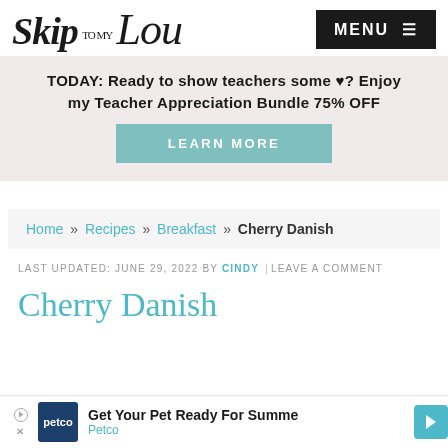Skip to my Lou — MENU
TODAY: Ready to show teachers some ♥? Enjoy my Teacher Appreciation Bundle 75% OFF
LEARN MORE
Home » Recipes » Breakfast » Cherry Danish
LAST UPDATED: JUNE 29, 2022 BY CINDY |LEAVE A COMMENT
Cherry Danish
[Figure (other): Petco advertisement banner: Get Your Pet Ready For Summer — Petco]